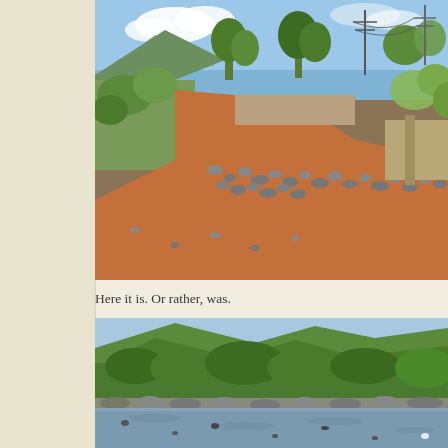[Figure (photo): A damaged or washed-out dirt road/bridge with red-orange soil, rocks and rubble piled along the sides, green bushes and trees in the background, blue sky with clouds, and electrical power lines visible in the distance.]
Here it is. Or rather, was.
[Figure (photo): A river or stream with rocky banks, lush green vegetation and hillside in the background, with water visible in the foreground.]